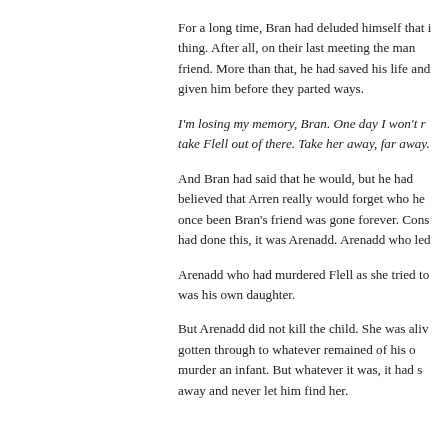For a long time, Bran had deluded himself that it didn't matter what he had done to that thing. After all, on their last meeting the man had spoken to him like he was still his friend. More than that, he had saved his life and given him the promise he had given him before they parted ways.
I'm losing my memory, Bran. One day I won't remember any of this. But when that day comes, take Flell out of there. Take her away, far away.
And Bran had said that he would, but he hadn't truly believed that Arren really would forget who he was. The man who had once been Bran's friend was gone forever. Consumed by what he had done this, it was Arenadd. Arenadd who led
Arenadd who had murdered Flell as she tried to escape. Flell, who was his own daughter.
But Arenadd did not kill the child. She was alive, and something had gotten through to whatever remained of his conscience — enough to not murder an infant. But whatever it was, it had sent him to take her away and never let him find her.